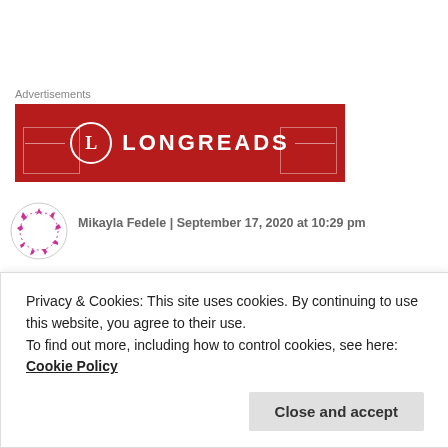Advertisements
[Figure (logo): Longreads advertisement banner with red background, circle L logo, and LONGREADS text in white]
Mikayla Fedele | September 17, 2020 at 10:29 pm
Privacy & Cookies: This site uses cookies. By continuing to use this website, you agree to their use.
To find out more, including how to control cookies, see here: Cookie Policy
Close and accept